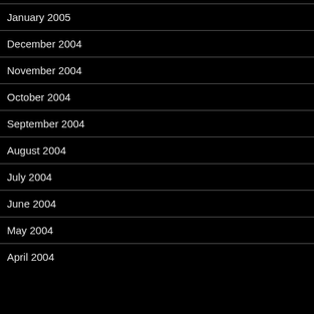January 2005
December 2004
November 2004
October 2004
September 2004
August 2004
July 2004
June 2004
May 2004
April 2004